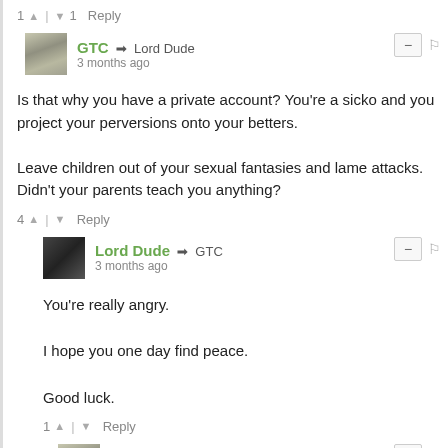1 ↑ | ↓ 1  Reply
GTC → Lord Dude
3 months ago
Is that why you have a private account? You're a sicko and you project your perversions onto your betters.

Leave children out of your sexual fantasies and lame attacks. Didn't your parents teach you anything?
4 ↑ | ↓  Reply
Lord Dude → GTC
3 months ago
You're really angry.

I hope you one day find peace.

Good luck.
1 ↑ | ↓  Reply
GTC → Lord Dude
3 months ago
I am?